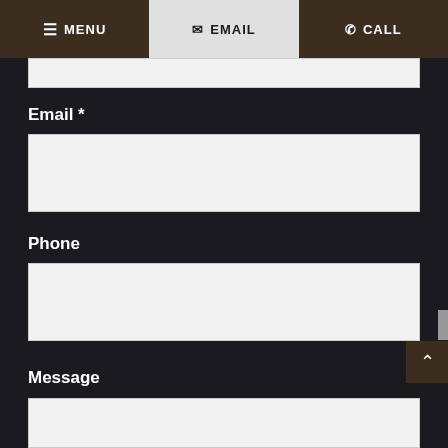MENU | EMAIL | CALL
Email *
Phone
Message